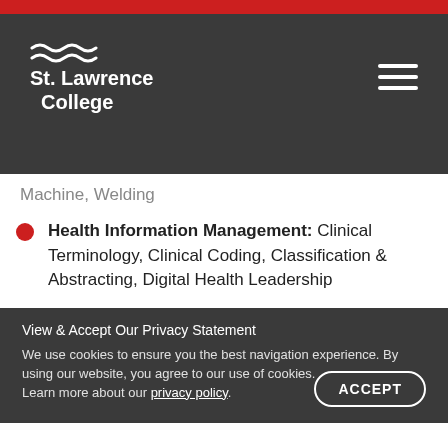St. Lawrence College
Machine, Welding
Health Information Management: Clinical Terminology, Clinical Coding, Classification & Abstracting, Digital Health Leadership
Quality Assurance and Compliance: Documentation, Implementation
Marine Emergency Duties
View & Accept Our Privacy Statement
We use cookies to ensure you the best navigation experience. By using our website, you agree to our use of cookies.
Learn more about our privacy policy.